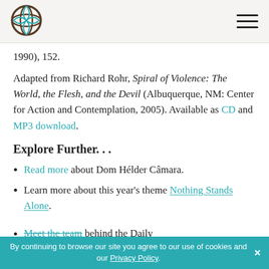[Figure (logo): Circular globe logo with brown border and teal globe segments, belonging to a religious/educational organization]
1990), 152.
Adapted from Richard Rohr, Spiral of Violence: The World, the Flesh, and the Devil (Albuquerque, NM: Center for Action and Contemplation, 2005). Available as CD and MP3 download.
Explore Further. . .
Read more about Dom Hélder Câmara.
Learn more about this year's theme Nothing Stands Alone.
Meet the team behind the Daily
By continuing to browse our site you agree to our use of cookies and our Privacy Policy.